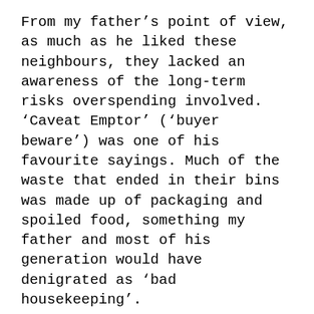From my father's point of view, as much as he liked these neighbours, they lacked an awareness of the long-term risks overspending involved. 'Caveat Emptor' ('buyer beware') was one of his favourite sayings. Much of the waste that ended in their bins was made up of packaging and spoiled food, something my father and most of his generation would have denigrated as 'bad housekeeping'.
Each week in his bin there was only one small plastic bag of household rubbish, with the cans, bottles and plastics carefully separated and washed. In fact he had grown up at a time when most households had to dispose of their own rubbish, either burning it or burying it, or giving it away to the various collectors that had once been so common (Strasser, 2002). Knowing what